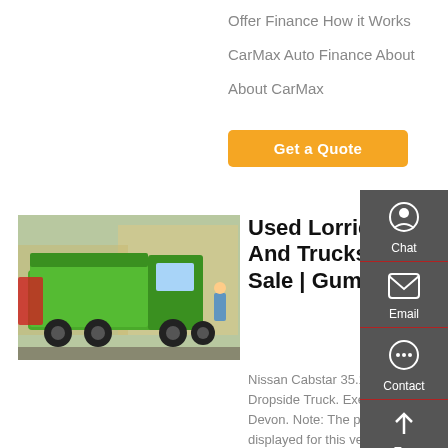Offer Finance How it Works
CarMax Auto Finance About
About CarMax
Get a Quote
[Figure (photo): Green dump truck (Sinotruck HOWO) parked in a yard with other trucks in background]
Used Lorries And Trucks For Sale | Gumtree
Nissan Cabstar 35.13, MWB Dropside Truck. Exeter, Devon. Note: The price displayed for this vehicle (£7495.00) is exclusive of VAT. Nissan Cabstar 35.13 MWB Dropside Truck 2488cc Diesel